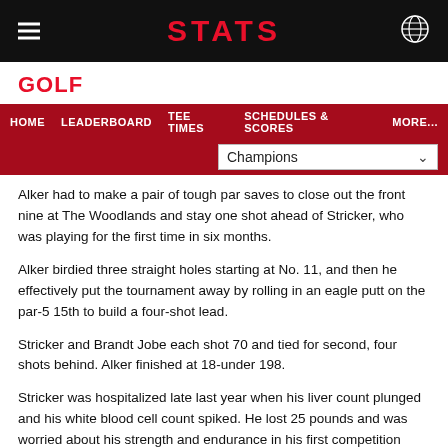STATS
GOLF
HOME   LEADERBOARD   TEE TIMES   SCHEDULES & SCORES   MORE...
Champions
Alker had to make a pair of tough par saves to close out the front nine at The Woodlands and stay one shot ahead of Stricker, who was playing for the first time in six months.
Alker birdied three straight holes starting at No. 11, and then he effectively put the tournament away by rolling in an eagle putt on the par-5 15th to build a four-shot lead.
Stricker and Brandt Jobe each shot 70 and tied for second, four shots behind. Alker finished at 18-under 198.
Stricker was hospitalized late last year when his liver count plunged and his white blood cell count spiked. He lost 25 pounds and was worried about his strength and endurance in his first competition since Oct. 10.
The winning Ryder Cup captain held up fine. He just couldn't hang with Alker.